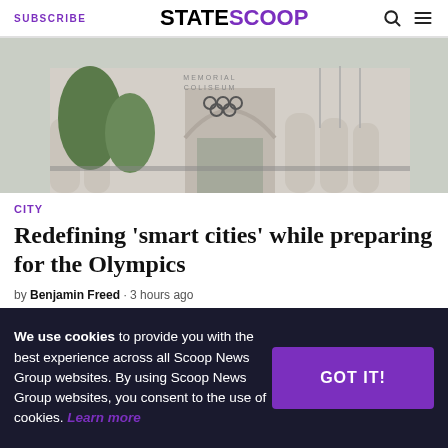SUBSCRIBE | STATESCOOP | [search icon] [menu icon]
[Figure (photo): Exterior photo of the Los Angeles Memorial Coliseum with Olympic rings and arched entrance, trees in foreground]
CITY
Redefining 'smart cities' while preparing for the Olympics
by Benjamin Freed · 3 hours ago
We use cookies to provide you with the best experience across all Scoop News Group websites. By using Scoop News Group websites, you consent to the use of cookies. Learn more [GOT IT! button]